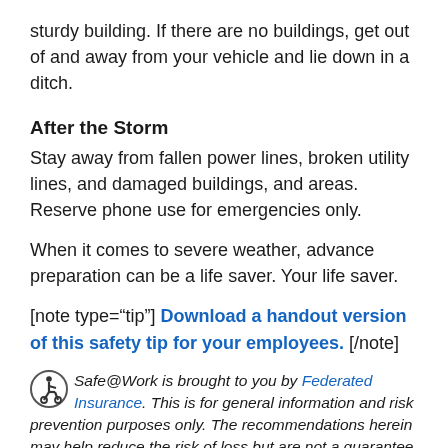sturdy building. If there are no buildings, get out of and away from your vehicle and lie down in a ditch.
After the Storm
Stay away from fallen power lines, broken utility lines, and damaged buildings, and areas. Reserve phone use for emergencies only.
When it comes to severe weather, advance preparation can be a life saver. Your life saver.
[note type="tip"] Download a handout version of this safety tip for your employees. [/note]
Safe@Work is brought to you by Federated Insurance. This is for general information and risk prevention purposes only. The recommendations herein may help reduce the risk of loss but are not a guarantee of the elimination of any risk of loss. It is not provided as a substitute for any